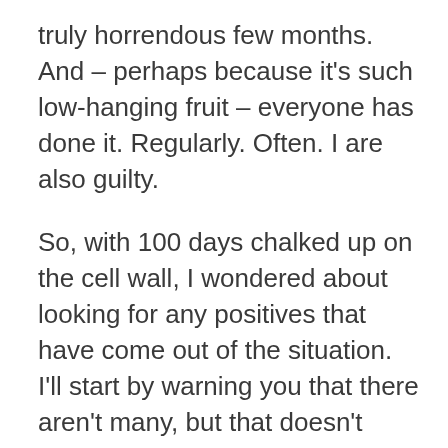truly horrendous few months. And – perhaps because it's such low-hanging fruit – everyone has done it. Regularly. Often. I are also guilty.
So, with 100 days chalked up on the cell wall, I wondered about looking for any positives that have come out of the situation. I'll start by warning you that there aren't many, but that doesn't mean that they should be overlooked. There may be a lot of clouds, but some of them must have silver linings, right?